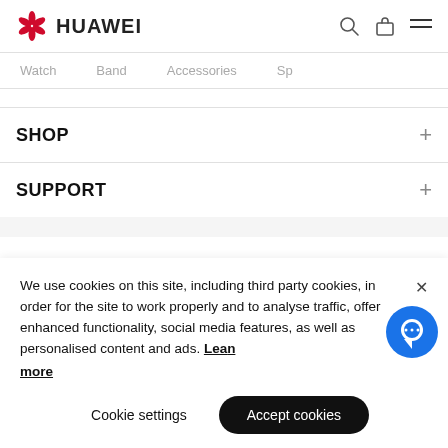HUAWEI — navigation header with search, bag, and menu icons
Watch    Band    Accessories    Sp
SHOP
SUPPORT
We use cookies on this site, including third party cookies, in order for the site to work properly and to analyse traffic, offer enhanced functionality, social media features, as well as personalised content and ads. Learn more
Cookie settings    Accept cookies